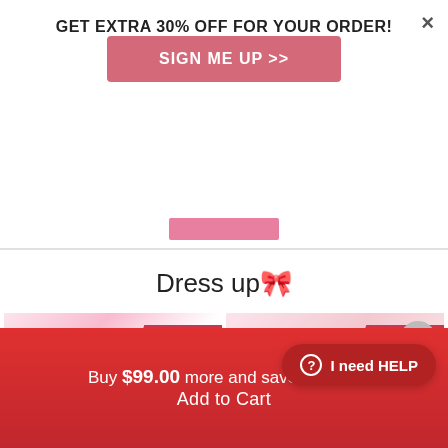×
GET EXTRA 30% OFF FOR YOUR ORDER!
SIGN ME UP >>
Dress up🎀
[Figure (photo): Baby pink cow print clothing set with headband, shown in circular layout. Badge: 44% OFF, Save $19.00]
[Figure (photo): Baby pink outfit set including onesie, headband, booties and bib. Badge: 23% OFF, Save $14.00]
Buy $99.00 more and save $10.00
I need HELP
Add to Cart